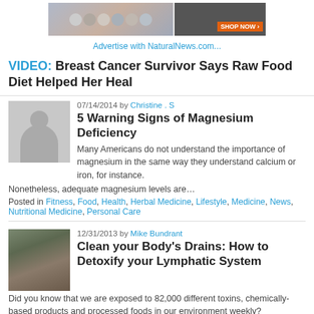[Figure (photo): Advertisement banner with group photo on left and product image with SHOP NOW button on right]
Advertise with NaturalNews.com...
VIDEO: Breast Cancer Survivor Says Raw Food Diet Helped Her Heal
07/14/2014 by Christine . S
[Figure (photo): Gray placeholder avatar thumbnail]
5 Warning Signs of Magnesium Deficiency
Many Americans do not understand the importance of magnesium in the same way they understand calcium or iron, for instance. Nonetheless, adequate magnesium levels are…
Posted in Fitness, Food, Health, Herbal Medicine, Lifestyle, Medicine, News, Nutritional Medicine, Personal Care
12/31/2013 by Mike Bundrant
[Figure (photo): Photo of Mike Bundrant, a man with short hair]
Clean your Body's Drains: How to Detoxify your Lymphatic System
Did you know that we are exposed to 82,000 different toxins, chemically-based products and processed foods in our environment weekly? Detoxification is the body's natural,…
Posted in Health, Holistic Medicine, Medicine